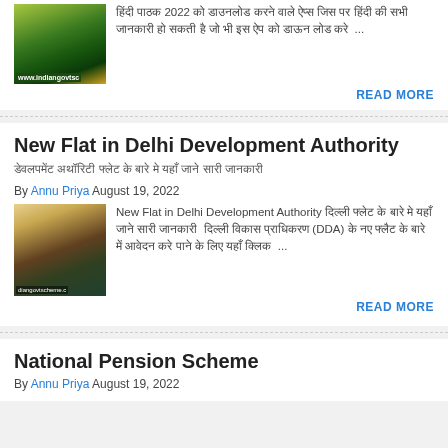[Figure (screenshot): Thumbnail image of indiangovtscheme website with green and orange colors]
हिंदी पाठक 2022 को डाउनलोड करने वाले ऐप्स जिस पर हिंदी की सभी जानकारी हो सकती है जो भी इस ऐप को डाऊन लोड करे ...
READ MORE
New Flat in Delhi Development Authority
डेवलपमेंट अथॉरिटी फ्लेट के बारे मे यहाँ जाने सारी जानकारी
By Annu Priya August 19, 2022
[Figure (screenshot): Thumbnail image of Delhi Development Authority building - diangovtscheme website]
New Flat in Delhi Development Authority दिल्ली फ्लेट के बारे मे यहाँ जाने सारी जानकारी दिल्ली विकास प्राधिकरण (DDA) के नए फ्लैट के बारे में आवेदन करे पाने के लिए यहाँ क्लिक ...
READ MORE
National Pension Scheme
By Annu Priya August 19, 2022